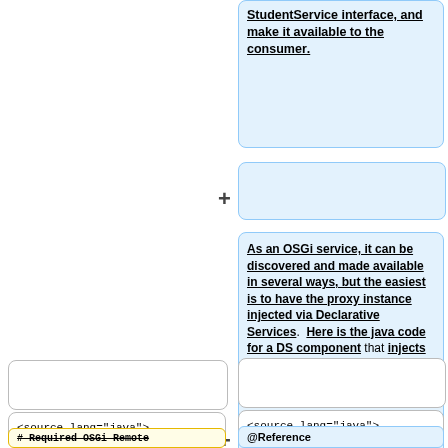StudentService interface, and make it available to the consumer.
(empty blue box)
As an OSGi service, it can be discovered and made available in several ways, but the easiest is to have the proxy instance injected via Declarative Services.  Here is the java code for a DS component that injects the StudentService proxy into the service consumer code:
(empty white box left)
<source lang="java">
# Required OSGi Remote
(empty white box right)
<source lang="java">
@Reference